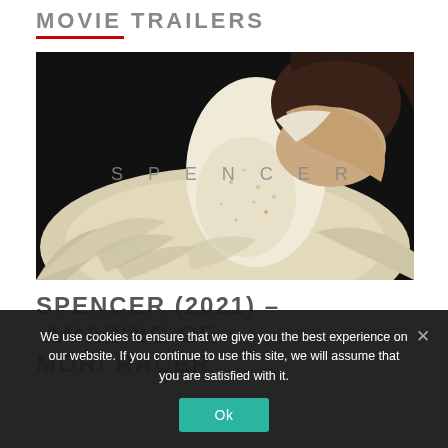MOVIE TRAILERS
[Figure (photo): A woman in a white embellished ballgown shot from behind against a dark background, with the word SPENCER overlaid in spaced grey letters]
SPENCER (2021) – AMAZING OF MORI RACER
We use cookies to ensure that we give you the best experience on our website. If you continue to use this site, we will assume that you are satisfied with it.